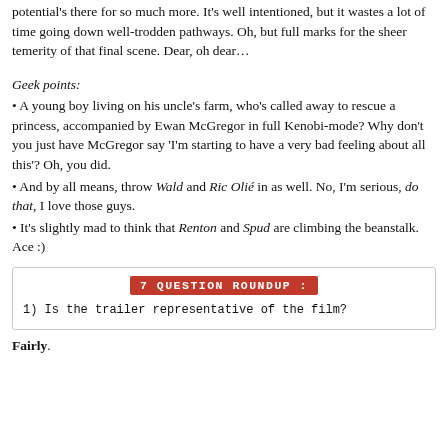potential's there for so much more. It's well intentioned, but it wastes a lot of time going down well-trodden pathways. Oh, but full marks for the sheer temerity of that final scene. Dear, oh dear…
Geek points:
• A young boy living on his uncle's farm, who's called away to rescue a princess, accompanied by Ewan McGregor in full Kenobi-mode? Why don't you just have McGregor say 'I'm starting to have a very bad feeling about all this'? Oh, you did.
• And by all means, throw Wald and Ric Olié in as well. No, I'm serious, do that, I love those guys.
• It's slightly mad to think that Renton and Spud are climbing the beanstalk. Ace :)
[Figure (other): 7 QUESTION ROUNDUP banner with question: 1) Is the trailer representative of the film?]
Fairly.